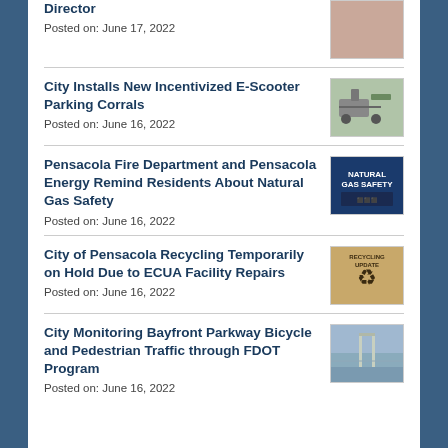Director
Posted on: June 17, 2022
City Installs New Incentivized E-Scooter Parking Corrals
Posted on: June 16, 2022
Pensacola Fire Department and Pensacola Energy Remind Residents About Natural Gas Safety
Posted on: June 16, 2022
City of Pensacola Recycling Temporarily on Hold Due to ECUA Facility Repairs
Posted on: June 16, 2022
City Monitoring Bayfront Parkway Bicycle and Pedestrian Traffic through FDOT Program
Posted on: June 16, 2022